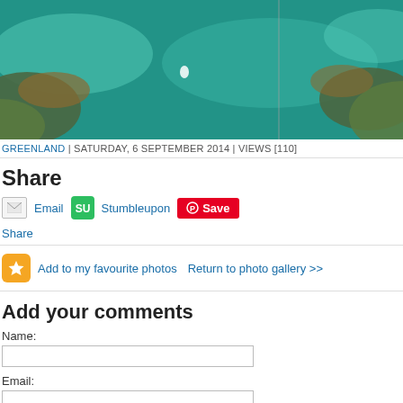[Figure (photo): Aerial view of turquoise ocean water with rocky shoreline, greenery, and a faint vertical line (possibly a rope or mast) in the water.]
GREENLAND | SATURDAY, 6 SEPTEMBER 2014 | VIEWS [110]
Share
Email  Stumbleupon  Save
Share
Add to my favourite photos   Return to photo gallery >>
Add your comments
Name:
Email: